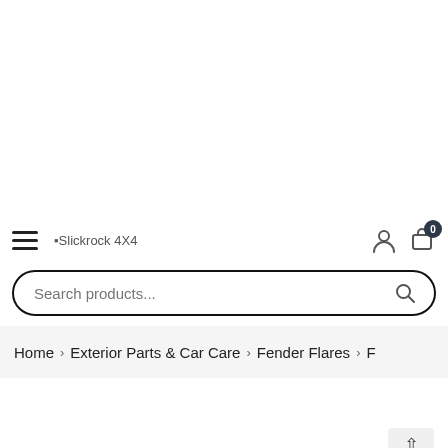Slickrock 4X4 website header with hamburger menu, logo, user icon, cart icon (0), search bar
Search products...
Home › Exterior Parts & Car Care › Fender Flares › F…